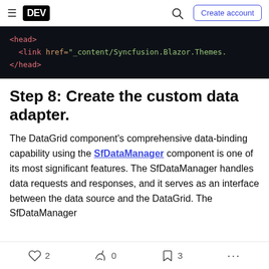DEV — Create account
[Figure (screenshot): Code block showing HTML head tag with link element referencing _content/Syncfusion.Blazor.Themes on dark background]
Step 8: Create the custom data adapter.
The DataGrid component's comprehensive data-binding capability using the SfDataManager component is one of its most significant features. The SfDataManager handles data requests and responses, and it serves as an interface between the data source and the DataGrid. The SfDataManager
2  0  3  ...